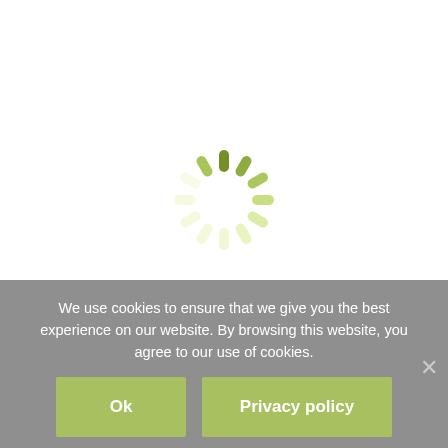[Figure (other): A circular loading spinner made of short rounded dashes arranged in a clock pattern, colored in varying shades of olive/yellow-green, indicating a loading state.]
We use cookies to ensure that we give you the best experience on our website. By browsing this website, you agree to our use of cookies.
Ok
Privacy policy